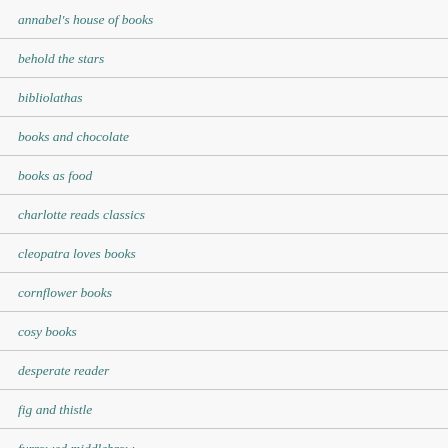annabel's house of books
behold the stars
bibliolathas
books and chocolate
books as food
charlotte reads classics
cleopatra loves books
cornflower books
cosy books
desperate reader
fig and thistle
furrowed middlebrow
genusrosa
gudrun's tights
heavenali